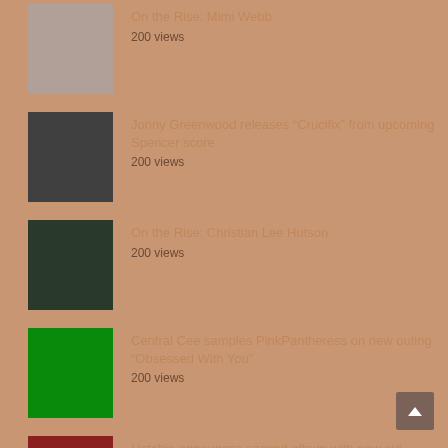On the Rise: Mimi Webb
200 views
Jonny Greenwood releases “Crucifix” from upcoming Spencer score
200 views
On the Rise: Christian Lee Hutson
200 views
Central Cee samples PinkPantheress on new outing “Obsessed With You”
200 views
Hatchie announces second album with new cut “Quicksand”
100 views
On the Rise: Naima Bock
100 views